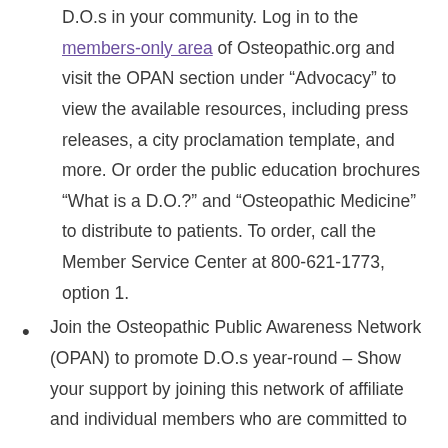D.O.s in your community. Log in to the members-only area of Osteopathic.org and visit the OPAN section under “Advocacy” to view the available resources, including press releases, a city proclamation template, and more. Or order the public education brochures “What is a D.O.?” and “Osteopathic Medicine” to distribute to patients. To order, call the Member Service Center at 800-621-1773, option 1.
Join the Osteopathic Public Awareness Network (OPAN) to promote D.O.s year-round – Show your support by joining this network of affiliate and individual members who are committed to